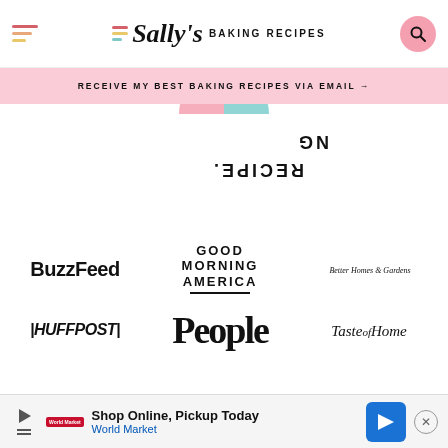Sally's Baking Recipes
RECEIVE MY BEST BAKING RECIPES VIA EMAIL →
[Figure (logo): Partial rotating circular logo with text RECIPE and NG visible, with a pie-chart style icon in teal and pink]
[Figure (logo): BuzzFeed logo]
[Figure (logo): Good Morning America logo]
[Figure (logo): Better Homes & Gardens logo]
[Figure (logo): HuffPost logo]
[Figure (logo): People magazine logo]
[Figure (logo): Taste of Home logo]
Something sweet for your inbox:
Sign up for FREE recipes!
Shop Online, Pickup Today
World Market